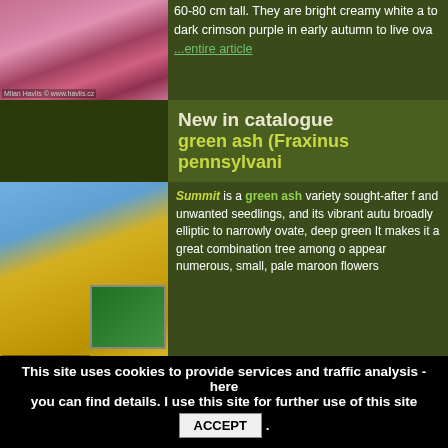[Figure (photo): Pink and red flowering shrub/plant, partially cut off at top]
60-80 cm tall. They are bright creamy white a to dark crimson purple in early autumn to live ova ...entire article
[Figure (photo): Green ash tree with yellow autumn foliage against blue sky, with inset of leaves]
New in catalogue
green ash (Fraxinus pennsylvani
Summit is a green ash variety sought-after f and unwanted seedlings, and its vibrant autu broadly elliptic to narrowly ovate, deep green It makes it a great combination tree among o appear numerous, small, pale maroon flowers
[Figure (photo): Pink flowers, partially cut off at bottom]
New in catalogue
This site uses cookies to provide services and traffic analysis - here you can find details. I use this site for further use of this site ACCEPT .